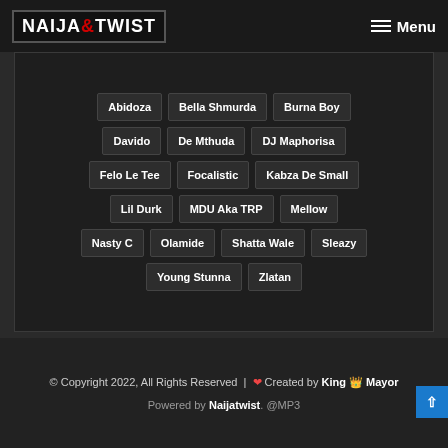NAIJATWIST | Menu
Abidoza
Bella Shmurda
Burna Boy
Davido
De Mthuda
DJ Maphorisa
Felo Le Tee
Focalistic
Kabza De Small
Lil Durk
MDU Aka TRP
Mellow
Nasty C
Olamide
Shatta Wale
Sleazy
Young Stunna
Zlatan
© Copyright 2022, All Rights Reserved | ❤ Created by King 👑 Mayor
Powered by Naijatwist. @MP3